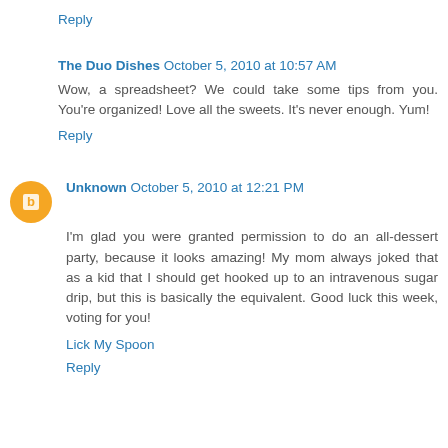Reply
The Duo Dishes  October 5, 2010 at 10:57 AM
Wow, a spreadsheet? We could take some tips from you. You're organized! Love all the sweets. It's never enough. Yum!
Reply
Unknown  October 5, 2010 at 12:21 PM
I'm glad you were granted permission to do an all-dessert party, because it looks amazing! My mom always joked that as a kid that I should get hooked up to an intravenous sugar drip, but this is basically the equivalent. Good luck this week, voting for you!
Lick My Spoon
Reply